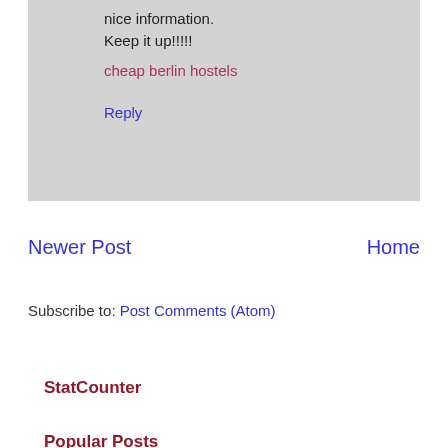nice information.
Keep it up!!!!!
cheap berlin hostels
Reply
Newer Post
Home
Subscribe to: Post Comments (Atom)
StatCounter
Popular Posts